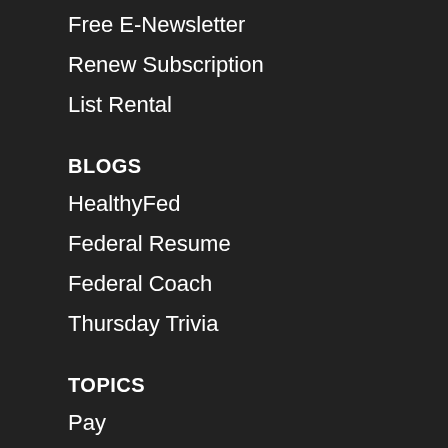Free E-Newsletter
Renew Subscription
List Rental
BLOGS
HealthyFed
Federal Resume
Federal Coach
Thursday Trivia
TOPICS
Pay
Benefits
Employee Policy
Thirft Savings Plan
Financial Planning